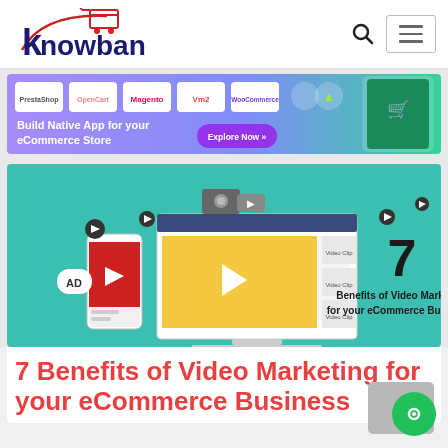[Figure (logo): Knowband logo with shopping cart icon and red/navy text]
[Figure (infographic): Banner ad: Build Native App for your eCommerce Store - Explore Now, with platform logos (PrestaShop, OpenCart, Magento, Vm2, WooCommerce) and mobile app screenshot]
[Figure (infographic): 7 Benefits of Video Marketing for your eCommerce Bussiness - teal background with video/laptop/phone marketing illustration and large number 7]
7 Benefits of Video Marketing for your eCommerce Business